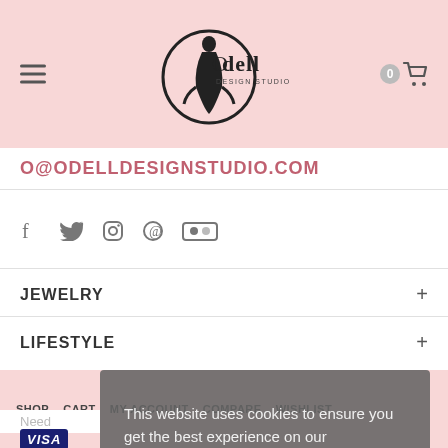[Figure (logo): Odell Design Studio logo with silhouette figure inside a circle, text 'Odell DESIGN STUDIO']
O@ODELLDESIGNSTUDIO.COM
[Figure (other): Social media icons: Facebook, Twitter, Instagram, Pinterest, Flickr]
JEWELRY +
LIFESTYLE +
SHOP  CART  MY ACCOUNT  COMPARE  WISHLIST
Need
VISA
© 202
This website uses cookies to ensure you get the best experience on our website. Learn more
Got it!